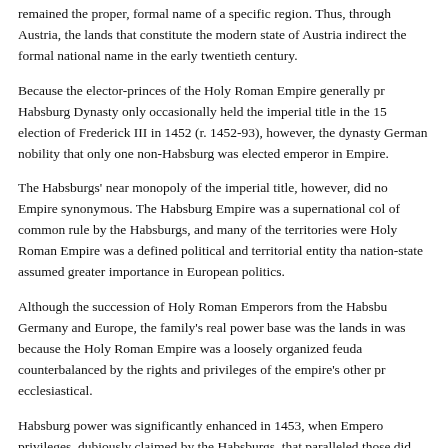remained the proper, formal name of a specific region. Thus, through Austria, the lands that constitute the modern state of Austria indirectly the formal national name in the early twentieth century.
Because the elector-princes of the Holy Roman Empire generally pr Habsburg Dynasty only occasionally held the imperial title in the 15 election of Frederick III in 1452 (r. 1452-93), however, the dynasty German nobility that only one non-Habsburg was elected emperor in Empire.
The Habsburgs' near monopoly of the imperial title, however, did no Empire synonymous. The Habsburg Empire was a supernational col of common rule by the Habsburgs, and many of the territories were Holy Roman Empire was a defined political and territorial entity tha nation-state assumed greater importance in European politics.
Although the succession of Holy Roman Emperors from the Habsb Germany and Europe, the family's real power base was the lands in was because the Holy Roman Empire was a loosely organized feuda counterbalanced by the rights and privileges of the empire's other pr ecclesiastical.
Habsburg power was significantly enhanced in 1453, when Emperor privileges, dubiously claimed by the Habsburgs, that paralleled those did not yet sit. In addition, the lands the Habsburgs' possessed in 14